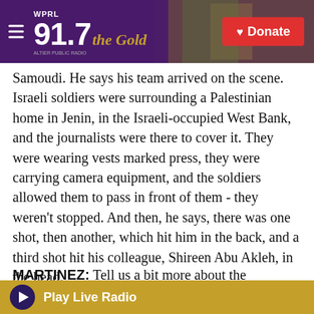WPRL 91.7 the Gold | Donate
Samoudi. He says his team arrived on the scene. Israeli soldiers were surrounding a Palestinian home in Jenin, in the Israeli-occupied West Bank, and the journalists were there to cover it. They were wearing vests marked press, they were carrying camera equipment, and the soldiers allowed them to pass in front of them - they weren't stopped. And then, he says, there was one shot, then another, which hit him in the back, and a third shot hit his colleague, Shireen Abu Akleh, in the head.
MARTINEZ: Tell us a bit more about the journalist
Play Live Radio